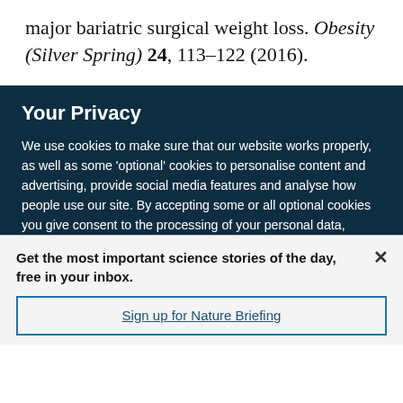major bariatric surgical weight loss. Obesity (Silver Spring) 24, 113–122 (2016).
Your Privacy
We use cookies to make sure that our website works properly, as well as some 'optional' cookies to personalise content and advertising, provide social media features and analyse how people use our site. By accepting some or all optional cookies you give consent to the processing of your personal data, including transfer to third parties, some in countries outside of the European Economic Area that do not offer the same data protection standards as the country where you live. You can decide which optional cookies to accept by clicking on 'Manage Settings', where you can
Get the most important science stories of the day, free in your inbox.
Sign up for Nature Briefing